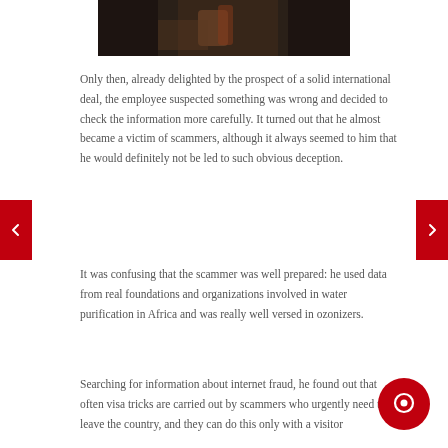[Figure (photo): Dark photograph showing hands, partially cropped at top of page]
Only then, already delighted by the prospect of a solid international deal, the employee suspected something was wrong and decided to check the information more carefully. It turned out that he almost became a victim of scammers, although it always seemed to him that he would definitely not be led to such obvious deception.
It was confusing that the scammer was well prepared: he used data from real foundations and organizations involved in water purification in Africa and was really well versed in ozonizers.
Searching for information about internet fraud, he found out that often visa tricks are carried out by scammers who urgently need to leave the country, and they can do this only with a visitor